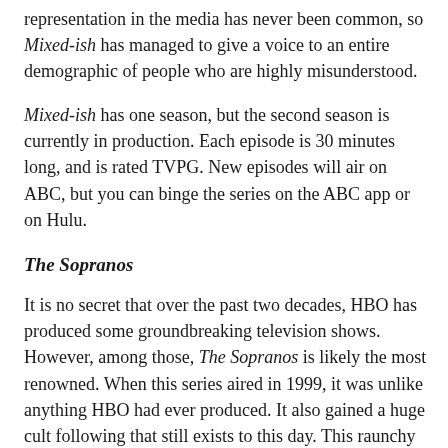representation in the media has never been common, so Mixed-ish has managed to give a voice to an entire demographic of people who are highly misunderstood.
Mixed-ish has one season, but the second season is currently in production. Each episode is 30 minutes long, and is rated TVPG. New episodes will air on ABC, but you can binge the series on the ABC app or on Hulu.
The Sopranos
It is no secret that over the past two decades, HBO has produced some groundbreaking television shows. However, among those, The Sopranos is likely the most renowned. When this series aired in 1999, it was unlike anything HBO had ever produced. It also gained a huge cult following that still exists to this day. This raunchy series revolves around the Soprano family, and its patriarch, Tony, who is a New Jersey organized crime boss. Tony Soprano is unlike the stereotypical television